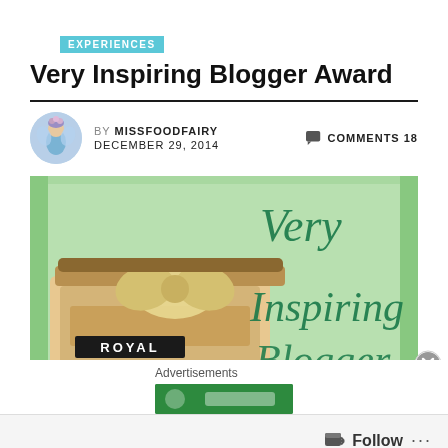EXPERIENCES
Very Inspiring Blogger Award
BY MISSFOODFAIRY   COMMENTS 18   DECEMBER 29, 2014
[Figure (photo): Very Inspiring Blogger Award image: a vintage Royal typewriter with a golden bow, on a green background with cursive text reading 'Very Inspiring Blogger']
Advertisements
[Figure (screenshot): Green advertisement banner at the bottom of the page]
Follow